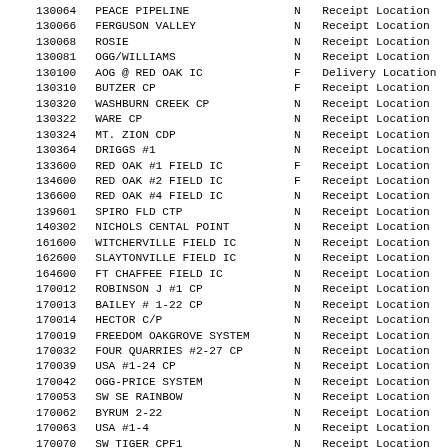| ID | Name | Flag | Type |
| --- | --- | --- | --- |
| 130064 | PEACE PIPELINE | N | Receipt Location |
| 130066 | FERGUSON VALLEY | N | Receipt Location |
| 130068 | ROSIE | N | Receipt Location |
| 130081 | OGG/WILLIAMS | N | Receipt Location |
| 130100 | AOG @ RED OAK IC | F | Delivery Location |
| 130310 | BUTZER CP | F | Receipt Location |
| 130320 | WASHBURN CREEK CP | N | Receipt Location |
| 130322 | WARE CP | N | Receipt Location |
| 130324 | MT. ZION CDP | N | Receipt Location |
| 130364 | DRIGGS #1 | N | Receipt Location |
| 133600 | RED OAK #1 FIELD IC | F | Receipt Location |
| 134600 | RED OAK #2 FIELD IC | F | Receipt Location |
| 136600 | RED OAK #4 FIELD IC | N | Receipt Location |
| 139601 | SPIRO FLD CTP | N | Receipt Location |
| 140302 | NICHOLS CENTAL POINT | N | Receipt Location |
| 161600 | WITCHERVILLE FIELD IC | N | Receipt Location |
| 162600 | SLAYTONVILLE FIELD IC | N | Receipt Location |
| 164600 | FT CHAFFEE FIELD IC | N | Receipt Location |
| 170012 | ROBINSON J #1 CP | N | Receipt Location |
| 170013 | BAILEY # 1-22 CP | N | Receipt Location |
| 170014 | HECTOR C/P | N | Receipt Location |
| 170019 | FREEDOM OAKGROVE SYSTEM | N | Receipt Location |
| 170032 | FOUR QUARRIES #2-27 CP | N | Receipt Location |
| 170039 | USA #1-24 CP | N | Receipt Location |
| 170042 | OGG-PRICE SYSTEM | N | Receipt Location |
| 170053 | SW SE RAINBOW | N | Receipt Location |
| 170062 | BYRUM 2-22 | N | Receipt Location |
| 170063 | USA #1-4 | N | Receipt Location |
| 170070 | SW TIGER CPF1 | N | Receipt Location |
| 170080 | TGT@HELENA RECEIPT | N | Receipt Location |